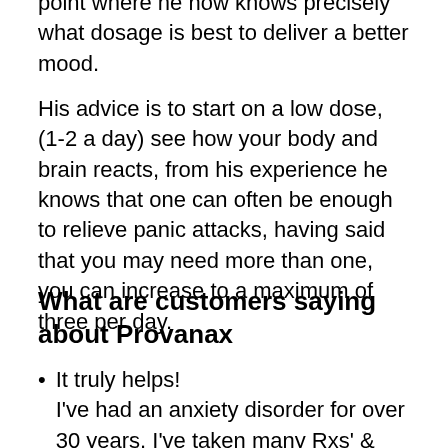point where he now knows precisely what dosage is best to deliver a better mood.
His advice is to start on a low dose, (1-2 a day) see how your body and brain reacts, from his experience he knows that one can often be enough to relieve panic attacks, having said that you may need more than one, you can increase to a maximum of three per day.
What are customers saying about Provanax
It truly helps! I've had an anxiety disorder for over 30 years. I've taken many Rxs' & supplements to help . Out of everything, this is the best!!